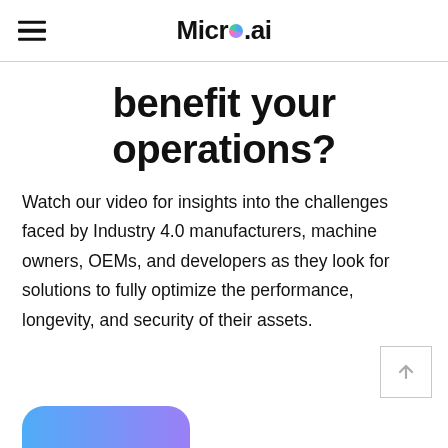Micro.ai
benefit your operations?
Watch our video for insights into the challenges faced by Industry 4.0 manufacturers, machine owners, OEMs, and developers as they look for solutions to fully optimize the performance, longevity, and security of their assets.